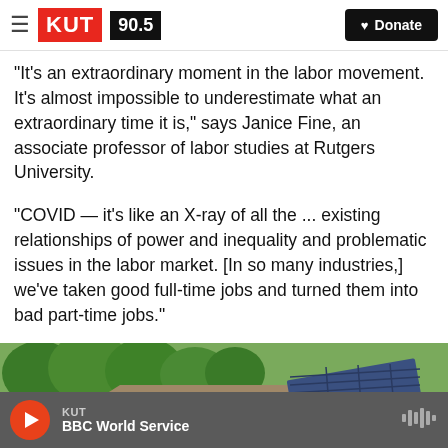KUT 90.5 — Donate
"It's an extraordinary moment in the labor movement. It's almost impossible to underestimate what an extraordinary time it is," says Janice Fine, an associate professor of labor studies at Rutgers University.
"COVID — it's like an X-ray of all the ... existing relationships of power and inequality and problematic issues in the labor market. [In so many industries,] we've taken good full-time jobs and turned them into bad part-time jobs."
[Figure (photo): Exterior photo of a house rooftop with solar panels installed, surrounded by green trees]
KUT — BBC World Service (audio player bar)